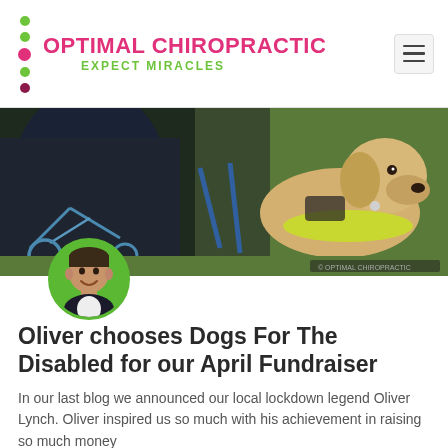OPTIMAL CHIROPRACTIC — EXPECT MIRACLES
[Figure (photo): Hero photo showing a golden retriever assistance dog in a yellow vest harness beside a person in a wheelchair, outdoors on grass.]
[Figure (photo): Circular author avatar photo of a smiling man in a suit, overlapping the bottom of the hero image, set against a green circular background.]
Oliver chooses Dogs For The Disabled for our April Fundraiser
In our last blog we announced our local lockdown legend Oliver Lynch. Oliver inspired us so much with his achievement in raising so much money